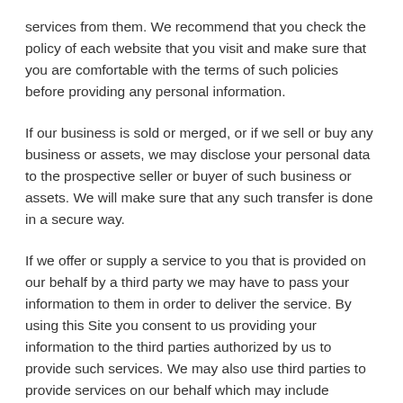services from them. We recommend that you check the policy of each website that you visit and make sure that you are comfortable with the terms of such policies before providing any personal information.
If our business is sold or merged, or if we sell or buy any business or assets, we may disclose your personal data to the prospective seller or buyer of such business or assets. We will make sure that any such transfer is done in a secure way.
If we offer or supply a service to you that is provided on our behalf by a third party we may have to pass your information to them in order to deliver the service. By using this Site you consent to us providing your information to the third parties authorized by us to provide such services. We may also use third parties to provide services on our behalf which may include processing (but not using themselves) your information